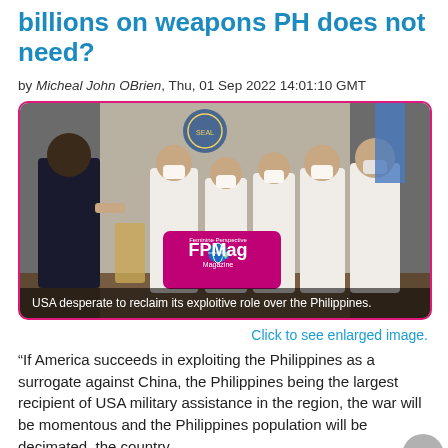billions on weapons PH does not need?
by Micheal John OBrien, Thu, 01 Sep 2022 14:01:10 GMT
[Figure (photo): Photo of officials in a formal meeting room, one person in dark suit shaking hands with another in barong tagalog, others in white barong and masks, Philippine seal visible in background. FPMag watermark badge. Caption: USA desperate to reclaim its exploitive role over the Philippines.]
Click to see enlarged image.
“If America succeeds in exploiting the Philippines as a surrogate against China, the Philippines being the largest recipient of USA military assistance in the region, the war will be momentous and the Philippines population will be decimated, the country